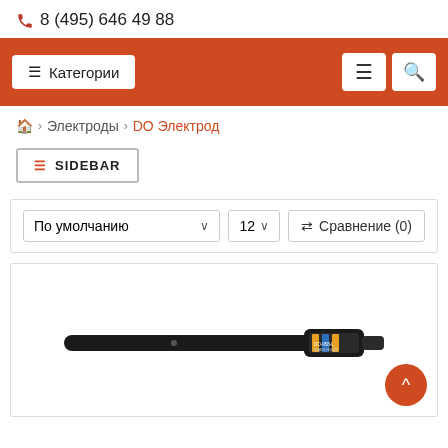8 (495) 646 49 88
≡ Категории
≡ 🔍
🏠 > Электроды > DO Электрод
≡ SIDEBAR
По умолчанию ∨  12 ∨  ⇄ Сравнение (0)
[Figure (photo): A black cylindrical electrode labeled DO-958-L]